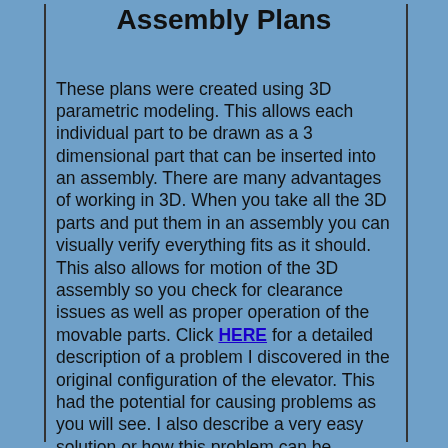Assembly Plans
These plans were created using 3D parametric modeling. This allows each individual part to be drawn as a 3 dimensional part that can be inserted into an assembly. There are many advantages of working in 3D. When you take all the 3D parts and put them in an assembly you can visually verify everything fits as it should. This also allows for motion of the 3D assembly so you check for clearance issues as well as proper operation of the movable parts. Click HERE for a detailed description of a problem I discovered in the original configuration of the elevator. This had the potential for causing problems as you will see. I also describe a very easy solution or how this problem can be resolved. Check it out HERE for a detailed